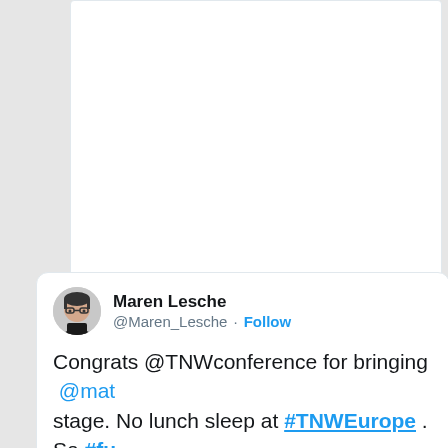[Figure (screenshot): Partial view of a Twitter/social media card at the top of the page, cropped, showing white background]
[Figure (screenshot): Twitter tweet card by Maren Lesche (@Maren_Lesche) with text: 'Congrats @TNWconference for bringing @mat stage. No lunch sleep at #TNWEurope . So #fu' and an event photo showing a dark stage with red/pink lighting and screens displaying a face.]